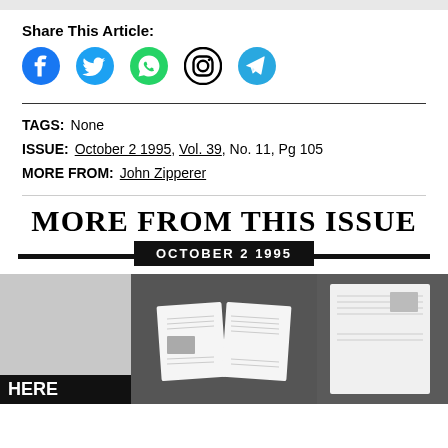Share This Article:
[Figure (infographic): Social media share icons: Facebook, Twitter, WhatsApp, Instagram, Telegram]
TAGS: None
ISSUE: October 2 1995, Vol. 39, No. 11, Pg 105
MORE FROM: John Zipperer
MORE FROM THIS ISSUE
OCTOBER 2 1995
[Figure (photo): Three thumbnail images of magazine pages from the October 2 1995 issue. Left: light gray page. Middle: open magazine spread on dark gray background. Right: partially visible magazine page on dark background.]